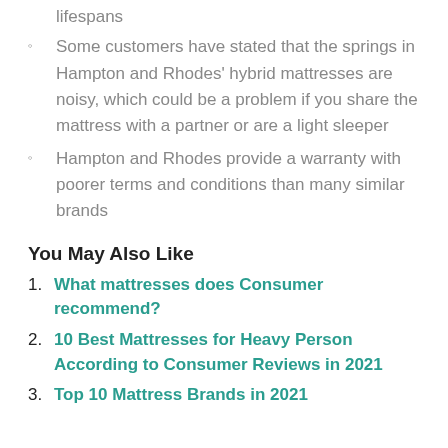lifespans
Some customers have stated that the springs in Hampton and Rhodes' hybrid mattresses are noisy, which could be a problem if you share the mattress with a partner or are a light sleeper
Hampton and Rhodes provide a warranty with poorer terms and conditions than many similar brands
You May Also Like
What mattresses does Consumer recommend?
10 Best Mattresses for Heavy Person According to Consumer Reviews in 2021
Top 10 Mattress Brands in 2021